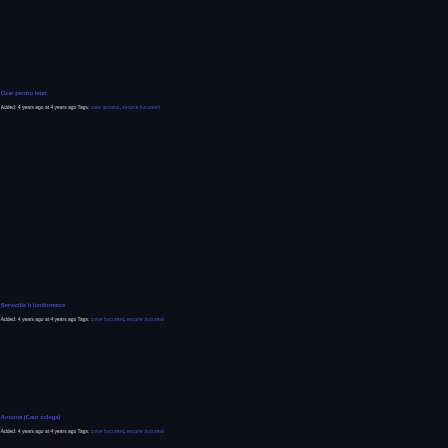Ozar pentru Imei:
Added: 4 years ago at 4 years ago Tags: cave taxianol, escorte bucuresti
Serviciile b /uniformace
Added: 4 years ago at 4 years ago Tags: curve bucuresti, escorte bucuresti
Antonia (Caut colega)
Added: 4 years ago at 4 years ago Tags: curve bucuresti, escorte bucuresti